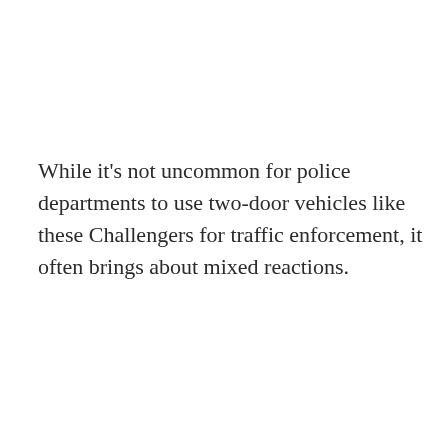While it's not uncommon for police departments to use two-door vehicles like these Challengers for traffic enforcement, it often brings about mixed reactions.